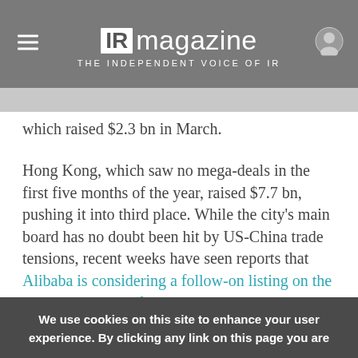IR magazine THE INDEPENDENT VOICE OF IR
which raised $2.3 bn in March.
Hong Kong, which saw no mega-deals in the first five months of the year, raised $7.7 bn, pushing it into third place. While the city's main board has no doubt been hit by US-China trade tensions, recent weeks have seen reports that Alibaba is considering a follow-on listing on the Stock Exchange of Hong Kong, rumored to be worth as much as $20 bn.
We use cookies on this site to enhance your user experience. By clicking any link on this page you are